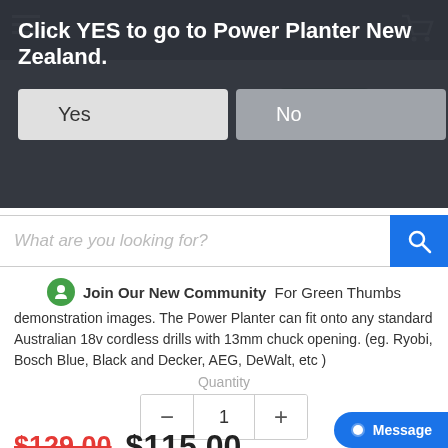Click YES to go to Power Planter New Zealand.
Yes
No
What are you looking for?
Join Our New Community  For Green Thumbs
demonstration images. The Power Planter can fit onto any standard Australian 18v cordless drills with 13mm chuck opening. (eg. Ryobi, Bosch Blue, Black and Decker, AEG, DeWalt, etc )
Quantity
1
$129.00 $115.00
Add To Cart
It's usually best to get one of these pack